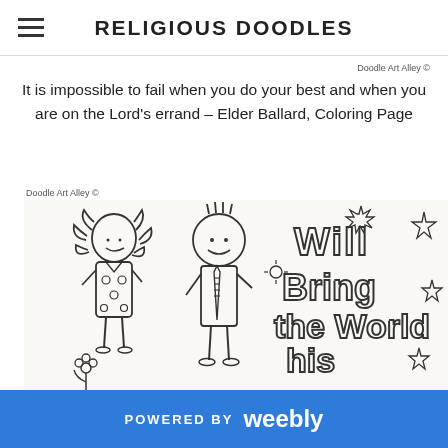RELIGIOUS DOODLES
Doodle Art Alley ©
It is impossible to fail when you do your best and when you are on the Lord's errand – Elder Ballard, Coloring Page
Doodle Art Alley ©
[Figure (illustration): A coloring page illustration showing two cartoon children (a girl with curly hair in a polka-dot dress and a boy with a round head wearing a tie) with large decorative text reading 'Will Bring the World his Truth' surrounded by stars and flower doodles.]
POWERED BY weebly